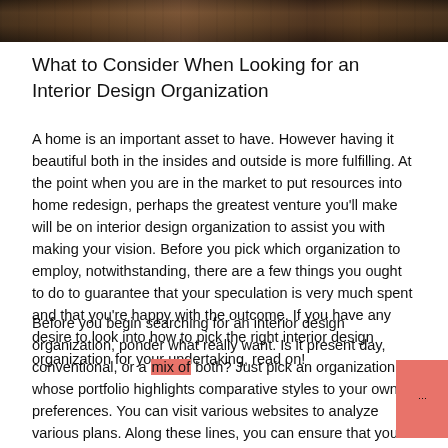[Figure (photo): Cropped photo strip showing interior furniture, appears to be chairs or tables in a room setting with warm brown tones]
What to Consider When Looking for an Interior Design Organization
A home is an important asset to have. However having it beautiful both in the insides and outside is more fulfilling. At the point when you are in the market to put resources into home redesign, perhaps the greatest venture you'll make will be on interior design organization to assist you with making your vision. Before you pick which organization to employ, notwithstanding, there are a few things you ought to do to guarantee that your speculation is very much spent and that you're happy with the outcome. If you have any desire to look into how to pick the right interior design organization for your undertaking, read on!
Before you begin searching for an interior design organization, ponder what really want. Is it present day, conventional, or a mix of both? Just pick an organization whose portfolio highlights comparative styles to your own preferences. You can visit various websites to analyze various plans. Along these lines, you can ensure that your new home's plan will mirror your character and